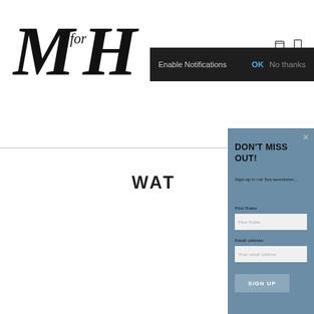[Figure (screenshot): Website screenshot showing MfH (Men for Health) logo in top left corner]
[Figure (screenshot): Browser notification bar with dark background showing Enable Notifications, OK, and No thanks options]
[Figure (screenshot): Popup modal with blue-gray background showing DON'T MISS OUT! newsletter sign-up form with First Name and Email address fields and SIGN UP button]
[Figure (screenshot): Partially visible website content area with WAT text and a video thumbnail showing skincare/MfH branded content]